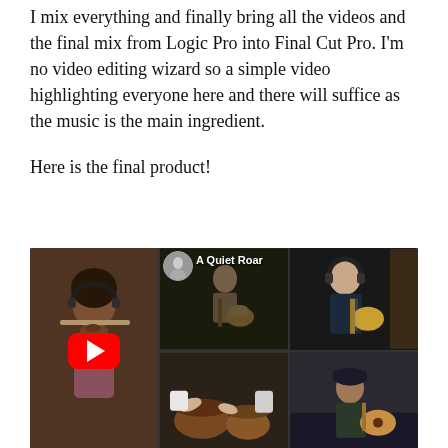I mix everything and finally bring all the videos and the final mix from Logic Pro into Final Cut Pro. I'm no video editing wizard so a simple video highlighting everyone here and there will suffice as the music is the main ingredient.

Here is the final product!
[Figure (screenshot): YouTube video thumbnail showing a collage of musicians playing instruments (guitar, flute, trumpet, bass, drums/bongos, acoustic guitar) with a YouTube play button overlay in the center. The video is titled 'A Quiet Roar'.]